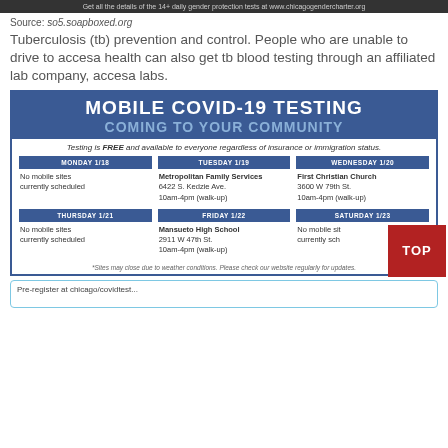Get all the details of the 14+ daily gender protection tests at www.chicagogendercharter.org
Source: so5.soapboxed.org
Tuberculosis (tb) prevention and control. People who are unable to drive to accesa health can also get tb blood testing through an affiliated lab company, accesa labs.
[Figure (infographic): Mobile COVID-19 Testing Coming to Your Community flyer showing weekly schedule of testing sites including Metropolitan Family Services (Tuesday 1/19), First Christian Church (Wednesday 1/20), Mansueto High School (Friday 1/22), and no mobile sites on Monday 1/18, Thursday 1/21, Saturday 1/23. Testing is free regardless of insurance or immigration status.]
*Sites may close due to weather conditions. Please check our website regularly for updates.
Pre-register at chicago/covidtest...